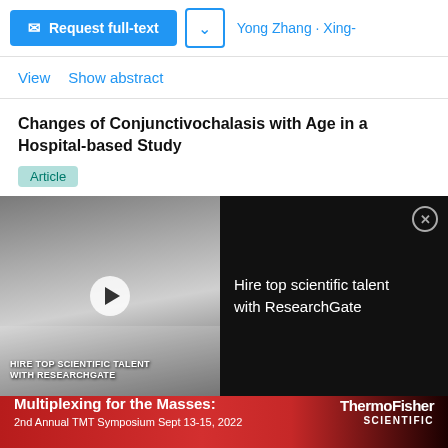[Figure (screenshot): ResearchGate UI: Request full-text button (blue), dropdown button, partial author name 'Yong Zhang · Xing-']
View   Show abstract
Changes of Conjunctivochalasis with Age in a Hospital-based Study
Article
Sep 2008
Tatsuya Mimura · Satoru Yamagami · Tomohiko Usui ·
[Figure (photo): Video advertisement overlay: Left half shows scientists in lab coats taking a selfie with text 'HIRE TOP SCIENTIFIC TALENT WITH RESEARCHGATE'. Right half shows dark background with text 'Hire top scientific talent with ResearchGate' and a close (X) button.]
Advertisement
[Figure (infographic): ThermoFisher Scientific advertisement banner: red background with text 'Multiplexing for the Masses: 2nd Annual TMT Symposium Sept 13-15, 2022' and ThermoFisher Scientific logo on the right.]